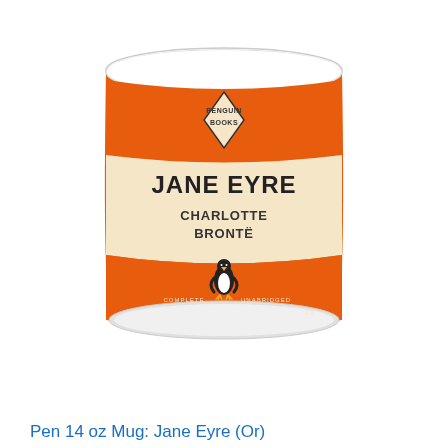[Figure (photo): A white ceramic mug featuring the Penguin Books design for Jane Eyre by Charlotte Brontë. The mug has orange horizontal bands at the top and bottom, a cream/beige center band with the title 'JANE EYRE' in bold black text and 'CHARLOTTE BRONTË' below it. A diamond-shaped Penguin Books logo is at the top, and a penguin illustration with 'COMPLETE' and 'UNABRIDGED' text appears at the bottom of the center band.]
Pen 14 oz Mug: Jane Eyre (Or)